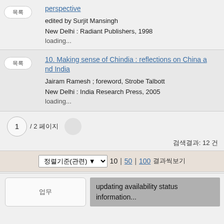perspective
edited by Surjit Mansingh
New Delhi : Radiant Publishers, 1998
loading...
10. Making sense of Chindia : reflections on China and India
Jairam Ramesh ; foreword, Strobe Talbott
New Delhi : India Research Press, 2005
loading...
1 / 2 페이지
검색결과: 12 건
정렬기준(관련) ▼ 10 | 50 | 100 결과씩보기
업무 updating availability status information...